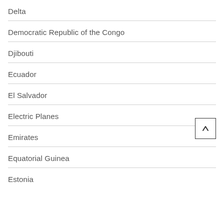Delta
Democratic Republic of the Congo
Djibouti
Ecuador
El Salvador
Electric Planes
Emirates
Equatorial Guinea
Estonia